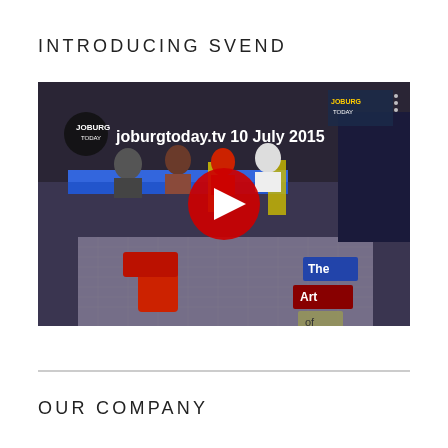INTRODUCING SVEND
[Figure (screenshot): YouTube video thumbnail showing an indoor event space with people sitting at blue tables. The video is from joburgtoday.tv dated 10 July 2015. A large red YouTube play button is centered on the image. Text visible includes 'JOBURG TODAY', 'The Art of the' on colored blocks in the lower right.]
OUR COMPANY